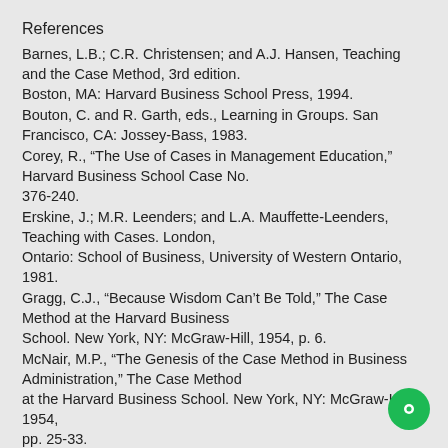References
Barnes, L.B.; C.R. Christensen; and A.J. Hansen, Teaching and the Case Method, 3rd edition. Boston, MA: Harvard Business School Press, 1994.
Bouton, C. and R. Garth, eds., Learning in Groups. San Francisco, CA: Jossey-Bass, 1983.
Corey, R., “The Use of Cases in Management Education,” Harvard Business School Case No. 376-240.
Erskine, J.; M.R. Leenders; and L.A. Mauffette-Leenders, Teaching with Cases. London, Ontario: School of Business, University of Western Ontario, 1981.
Gragg, C.J., “Because Wisdom Can’t Be Told,” The Case Method at the Harvard Business School. New York, NY: McGraw-Hill, 1954, p. 6.
McNair, M.P., “The Genesis of the Case Method in Business Administration,” The Case Method at the Harvard Business School. New York, NY: McGraw-Hill, 1954, pp. 25-33.
Penrose, J. M.; R.W. Raspberry; and R. J. Myers, “Analyzing and